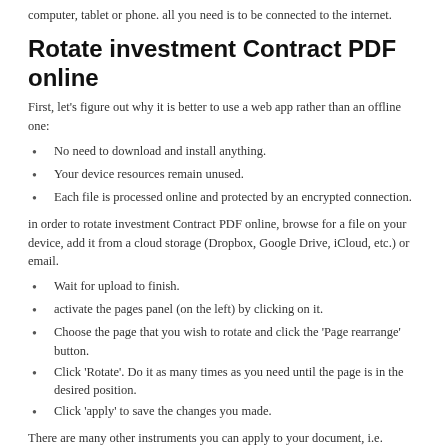computer, tablet or phone. all you need is to be connected to the internet.
Rotate investment Contract PDF online
First, let's figure out why it is better to use a web app rather than an offline one:
No need to download and install anything.
Your device resources remain unused.
Each file is processed online and protected by an encrypted connection.
in order to rotate investment Contract PDF online, browse for a file on your device, add it from a cloud storage (Dropbox, Google Drive, iCloud, etc.) or email.
Wait for upload to finish.
activate the pages panel (on the left) by clicking on it.
Choose the page that you wish to rotate and click the 'Page rearrange' button.
Click 'Rotate'. Do it as many times as you need until the page is in the desired position.
Click 'apply' to save the changes you made.
There are many other instruments you can apply to your document, i.e. download it to your device or share it with another person. You can also export